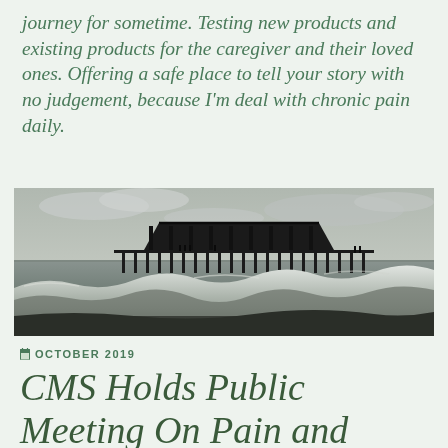journey for sometime. Testing new products and existing products for the caregiver and their loved ones. Offering a safe place to tell your story with no judgement, because I'm deal with chronic pain daily.
[Figure (photo): Black and white photograph of a pier with a covered pavilion structure extending over water, with waves in the foreground and cloudy sky.]
OCTOBER 2019
CMS Holds Public Meeting On Pain and Opioids: Seeks Public...